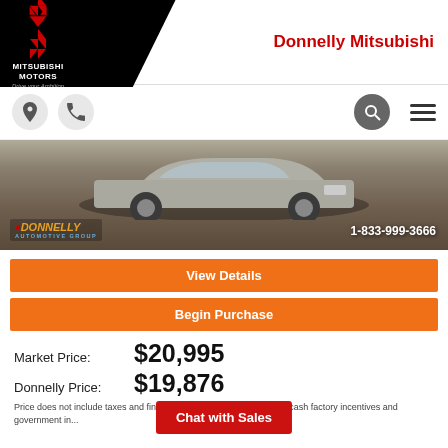[Figure (logo): Mitsubishi Motors logo on black triangular background with 'Drive your Ambition' tagline]
Donnelly Mitsubishi
[Figure (photo): Front view of a silver/grey car (Mitsubishi) at a dealership lot with Donnelly Automotive Group logo and phone number 1-833-999-3666 overlaid]
View Details
Begin Purchase
Market Price:  $20,995
Donnelly Price:  $19,876
Price does not include taxes and financing. Price applied includes all cash factory incentives and government in...
Chat with Sales